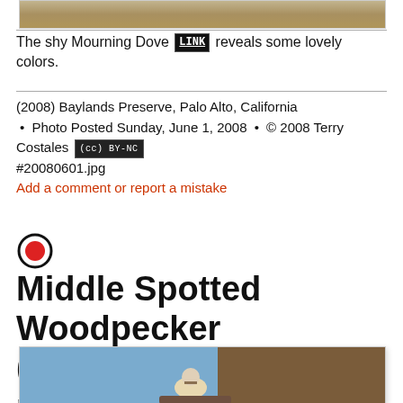[Figure (photo): Top portion of a Mourning Dove photo, cropped at the top of the page]
The shy Mourning Dove [LINK] reveals some lovely colors.
(2008) Baylands Preserve, Palo Alto, California • Photo Posted Sunday, June 1, 2008 • © 2008 Terry Costales [cc BY-NC] #20080601.jpg
Add a comment or report a mistake
Middle Spotted Woodpecker (Dendrocopos medius)
(54 of 94) (219366 views)
[Figure (photo): Photo of a Middle Spotted Woodpecker on a tree branch against a blue sky]